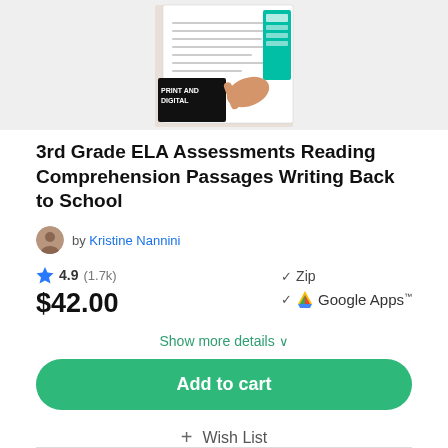[Figure (photo): Product thumbnail image showing printed ELA assessment worksheets with a hand pointing, labeled 'Print and Digital']
3rd Grade ELA Assessments Reading Comprehension Passages Writing Back to School
by Kristine Nannini
4.9 (1.7k)
$42.00
✓ Zip
✓ Google Apps™
Show more details ✓
Add to cart
+ Wish List